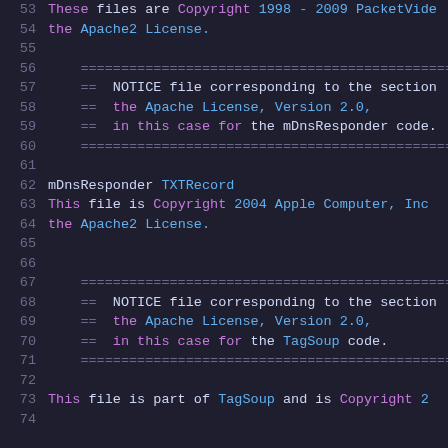53  These files are Copyright 1998 - 2009 PacketVide...
54  the Apache2 License.
55
56      ======================================...
57      ==  NOTICE file corresponding to the section...
58      ==  the Apache License, Version 2.0,
59      ==  in this case for the mDnsResponder code.
60      ======================================...
61
62  mDnsResponder TXTRecord
63  This file is Copyright 2004 Apple Computer, Inc...
64  the Apache2 License.
65
66
67      ======================================...
68      ==  NOTICE file corresponding to the section...
69      ==  the Apache License, Version 2.0,
70      ==  in this case for the TagSoup code.
71      ======================================...
72
73  This file is part of TagSoup and is Copyright 2...
74